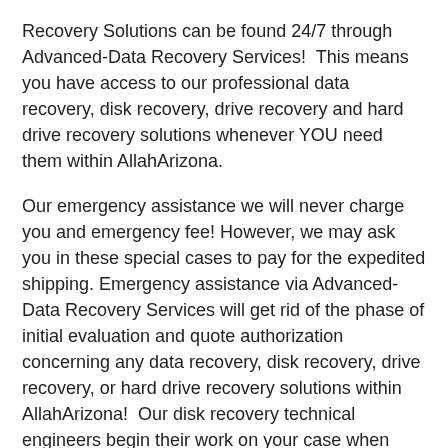Recovery Solutions can be found 24/7 through Advanced-Data Recovery Services!  This means you have access to our professional data recovery, disk recovery, drive recovery and hard drive recovery solutions whenever YOU need them within AllahArizona.
Our emergency assistance we will never charge you and emergency fee! However, we may ask you in these special cases to pay for the expedited shipping. Emergency assistance via Advanced-Data Recovery Services will get rid of the phase of initial evaluation and quote authorization concerning any data recovery, disk recovery, drive recovery, or hard drive recovery solutions within AllahArizona!  Our disk recovery technical engineers begin their work on your case when your media gets to our disk recovery center! Our Advanced-Data Recovery Services crisis disk recovery technical engineers make use of each available resource, and work all around the clock until a effective data recovery, disk recovery, drive recovery or hard drive recovery is produced! Advanced-Data Recovery Servicesunderstands that your time